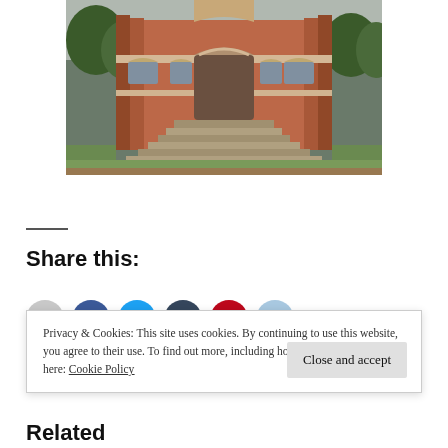[Figure (photo): Exterior photo of a red brick Victorian building with stone steps leading up to the entrance, arched windows and doorway, flanked by trees]
Share this:
Privacy & Cookies: This site uses cookies. By continuing to use this website, you agree to their use. To find out more, including how to control cookies, see here: Cookie Policy
Related